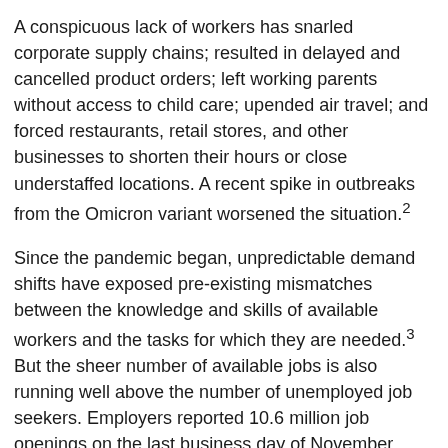A conspicuous lack of workers has snarled corporate supply chains; resulted in delayed and cancelled product orders; left working parents without access to child care; upended air travel; and forced restaurants, retail stores, and other businesses to shorten their hours or close understaffed locations. A recent spike in outbreaks from the Omicron variant worsened the situation.²
Since the pandemic began, unpredictable demand shifts have exposed pre-existing mismatches between the knowledge and skills of available workers and the tasks for which they are needed.³ But the sheer number of available jobs is also running well above the number of unemployed job seekers. Employers reported 10.6 million job openings on the last business day of November 2021, even though there were the 6.8 million unemployed persons in November and 6.3 million in December.⁴
COVID-19 may have kicked off a severe labor shortage, but longer-term demographic trends are partly to blame for this